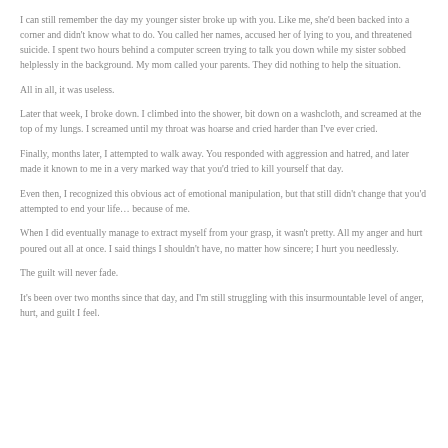I can still remember the day my younger sister broke up with you. Like me, she'd been backed into a corner and didn't know what to do. You called her names, accused her of lying to you, and threatened suicide. I spent two hours behind a computer screen trying to talk you down while my sister sobbed helplessly in the background. My mom called your parents. They did nothing to help the situation.
All in all, it was useless.
Later that week, I broke down. I climbed into the shower, bit down on a washcloth, and screamed at the top of my lungs. I screamed until my throat was hoarse and cried harder than I've ever cried.
Finally, months later, I attempted to walk away. You responded with aggression and hatred, and later made it known to me in a very marked way that you'd tried to kill yourself that day.
Even then, I recognized this obvious act of emotional manipulation, but that still didn't change that you'd attempted to end your life… because of me.
When I did eventually manage to extract myself from your grasp, it wasn't pretty. All my anger and hurt poured out all at once. I said things I shouldn't have, no matter how sincere; I hurt you needlessly.
The guilt will never fade.
It's been over two months since that day, and I'm still struggling with this insurmountable level of anger, hurt, and guilt I feel.